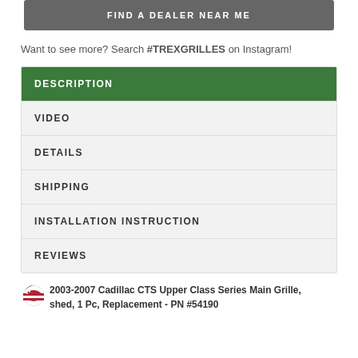FIND A DEALER NEAR ME
Want to see more? Search #TREXGRILLES on Instagram!
DESCRIPTION
VIDEO
DETAILS
SHIPPING
INSTALLATION INSTRUCTION
REVIEWS
2003-2007 Cadillac CTS Upper Class Series Main Grille, shed, 1 Pc, Replacement - PN #54190